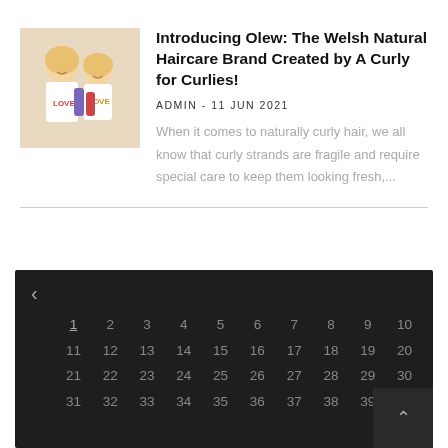[Figure (photo): Two young girls smiling and holding haircare product bottles, wearing white shirts with 'LOVE' text]
Introducing Olew: The Welsh Natural Haircare Brand Created by A Curly for Curlies!
ADMIN - 11 JUN 2021
When it comes to naturally curly hair, we all know that curly strands are fragile and require special care to keep them looking fresh,...
[Figure (other): Dark-themed calendar widget showing numbers 1-40 in a grid layout with a navigation arrow and scroll button]